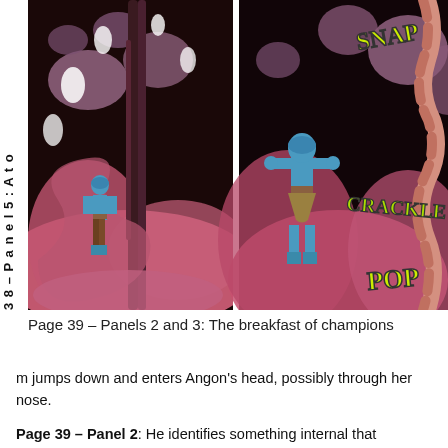[Figure (illustration): Two comic book panels side by side. Left panel shows a small blue-costumed hero figure standing inside a large pink/flesh-colored organic interior (inside a creature), with dark tentacle/organic shapes above and around. Right panel shows the same hero in a dynamic pose breaking through a braided rope/tendril, with yellow comic sound effects 'SNAP', 'CRACKLE', 'POP' visible on the right side.]
3 8 – Panel 5 : A t o
Page 39 – Panels 2 and 3: The breakfast of champions
m jumps down and enters Angon's head, possibly through her nose.
Page 39 – Panel 2: He identifies something internal that